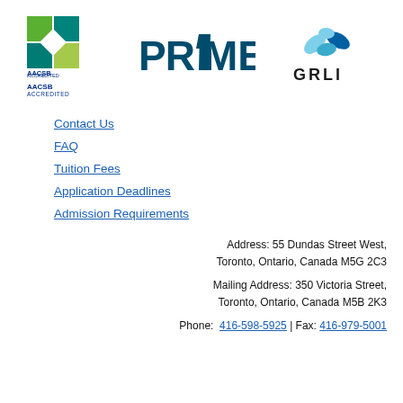[Figure (logo): AACSB Accredited logo - green and teal geometric squares]
[Figure (logo): PRME logo - dark teal bold text]
[Figure (logo): GRLI logo - blue flower/leaf swirl with GRLI text]
Contact Us
FAQ
Tuition Fees
Application Deadlines
Admission Requirements
Address: 55 Dundas Street West, Toronto, Ontario, Canada M5G 2C3
Mailing Address: 350 Victoria Street, Toronto, Ontario, Canada M5B 2K3
Phone: 416-598-5925 | Fax: 416-979-5001